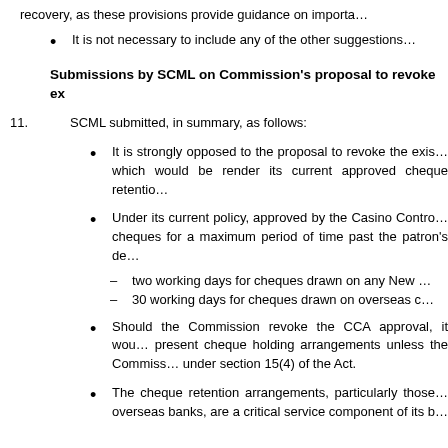It is not necessary to include any of the other suggestions...
Submissions by SCML on Commission's proposal to revoke ex
11. SCML submitted, in summary, as follows:
It is strongly opposed to the proposal to revoke the existing approval, which would be render its current approved cheque retentio...
Under its current policy, approved by the Casino Control... cheques for a maximum period of time past the patron's de...
– two working days for cheques drawn on any New ...
– 30 working days for cheques drawn on overseas c...
Should the Commission revoke the CCA approval, it would... present cheque holding arrangements unless the Commiss... under section 15(4) of the Act.
The cheque retention arrangements, particularly those... overseas banks, are a critical service component of its b...